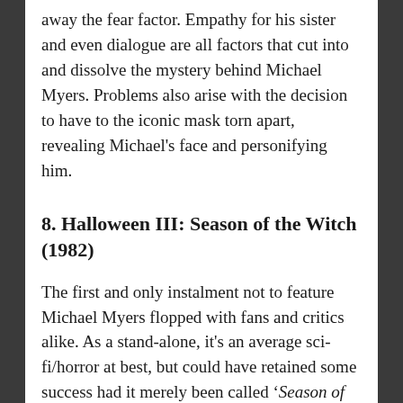away the fear factor. Empathy for his sister and even dialogue are all factors that cut into and dissolve the mystery behind Michael Myers. Problems also arise with the decision to have to the iconic mask torn apart, revealing Michael's face and personifying him.
8. Halloween III: Season of the Witch (1982)
The first and only instalment not to feature Michael Myers flopped with fans and critics alike. As a stand-alone, it's an average sci-fi/horror at best, but could have retained some success had it merely been called 'Season of the Witch.' Overall, it's not a